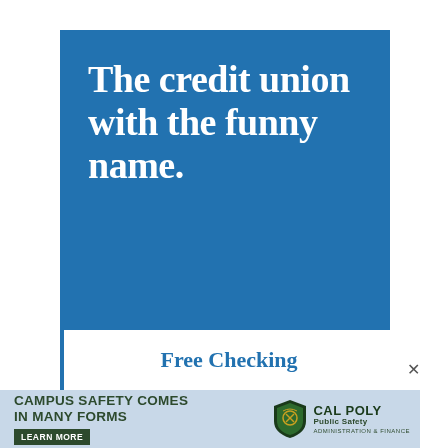[Figure (infographic): Blue credit union advertisement with large white bold serif text reading 'The credit union with the funny name.' on a blue background, with a white section below showing 'Free Checking']
Free Checking
[Figure (infographic): Cal Poly Public Safety banner advertisement with light blue background, dark green bold text 'CAMPUS SAFETY COMES IN MANY FORMS', a Learn More button, a shield logo, and Cal Poly Public Safety text]